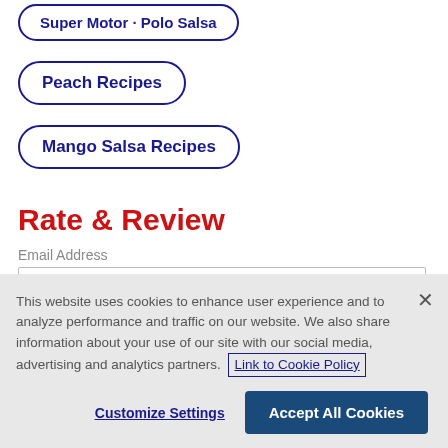Super Motor · Polo Salsa (partial, cropped at top)
Peach Recipes
Mango Salsa Recipes
Rate & Review
Email Address
This website uses cookies to enhance user experience and to analyze performance and traffic on our website. We also share information about your use of our site with our social media, advertising and analytics partners. Link to Cookie Policy
Customize Settings
Accept All Cookies